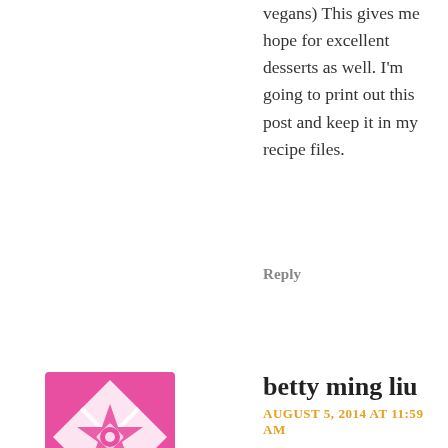vegans) This gives me hope for excellent desserts as well. I'm going to print out this post and keep it in my recipe files.
Reply
[Figure (illustration): Pink and white decorative avatar icon with a geometric star/flower pattern]
post author
betty ming liu
AUGUST 5, 2014 AT 11:59 AM
Toby, what a compliment — I made it to your recipe file! Like you, I am discovering vegan food can be tasty, at least, these days. Thanks for stopping by!
Reply